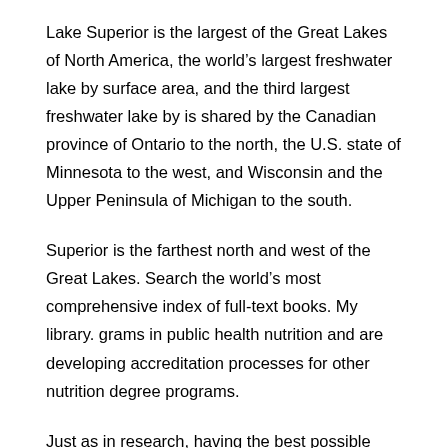Lake Superior is the largest of the Great Lakes of North America, the world's largest freshwater lake by surface area, and the third largest freshwater lake by is shared by the Canadian province of Ontario to the north, the U.S. state of Minnesota to the west, and Wisconsin and the Upper Peninsula of Michigan to the south.
Superior is the farthest north and west of the Great Lakes. Search the world's most comprehensive index of full-text books. My library. grams in public health nutrition and are developing accreditation processes for other nutrition degree programs.
Just as in research, having the best possible tools is an enormous advantage in teaching and learning. This is the reasoning behind the initiative to launch this series of human nutrition textbooks designed for use worldwide.
Nutrients, an international, peer-reviewed Open Access journal. Special Issues. Nutrients runs special issues to create collections of papers on specific topics. The aim is to build a community of authors and readers to discuss the latest research and develop new ideas and